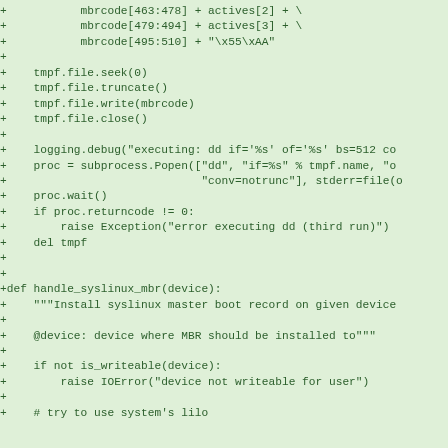Code diff showing Python functions for MBR handling with syslinux